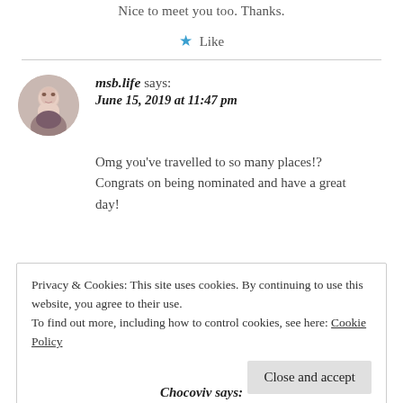Nice to meet you too. Thanks.
★ Like
msb.life says: June 15, 2019 at 11:47 pm
Omg you've travelled to so many places!? Congrats on being nominated and have a great day!
Privacy & Cookies: This site uses cookies. By continuing to use this website, you agree to their use.
To find out more, including how to control cookies, see here: Cookie Policy
Close and accept
Chocoviv says: